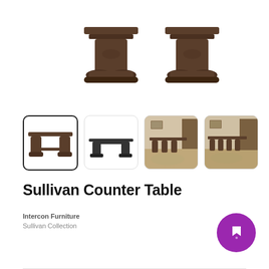[Figure (photo): Main product image showing top of Sullivan Counter Table legs/pedestal base, cropped view from above]
[Figure (photo): Four product thumbnail images: (1) selected - full table top view, (2) underside/profile silhouette, (3) room scene with chairs, (4) another room scene with chairs]
Sullivan Counter Table
Intercon Furniture
Sullivan Collection